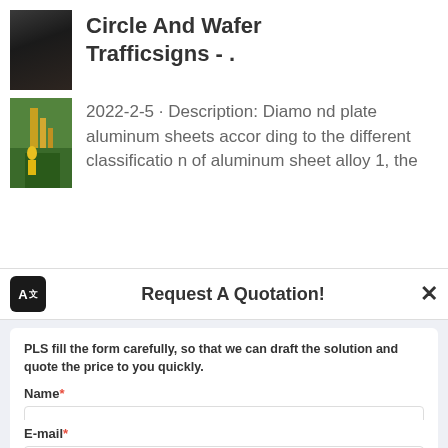Circle And Wafer Trafficsigns - .
2022-2-5 · Description: Diamond plate aluminum sheets according to the different classification of aluminum sheet alloy 1, the
Request A Quotation!
PLS fill the form carefully, so that we can draft the solution and quote the price to you quickly.
Name*
E-mail*